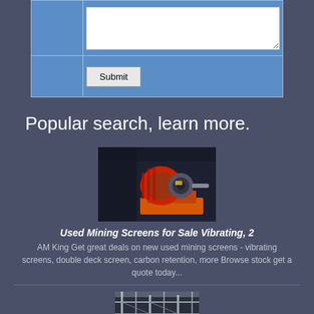|  |  |
| Submit |  |
Popular search, learn more.
[Figure (photo): Industrial mining screen vibrating motor/drive unit — red and grey metal machinery on orange frame against dark background]
Used Mining Screens for Sale Vibrating, 2
AM King Get great deals on new used mining screens - vibrating screens, double deck screen, carbon retention, more Browse stock get a quote today...
[Figure (photo): Partial view of industrial equipment or machinery structure — second product listing image, partially visible at bottom]